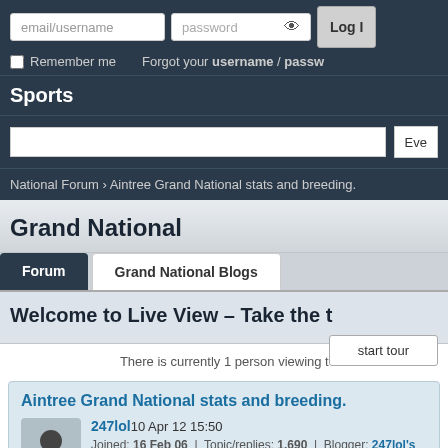email/username | password | Log In | Remember me | Forgot your username / password
Sports
Eve (search/filter)
National Forum › Aintree Grand National stats and breeding.
Grand National
Forum | Grand National Blogs
Welcome to Live View – Take the t
start tour
There is currently 1 person viewing t
Aintree Grand National stats and breeding.
247lol 10 Apr 12 15:50
Joined: 16 Feb 06 | Topic/replies: 1,690 | Blogger: 247lol's blog